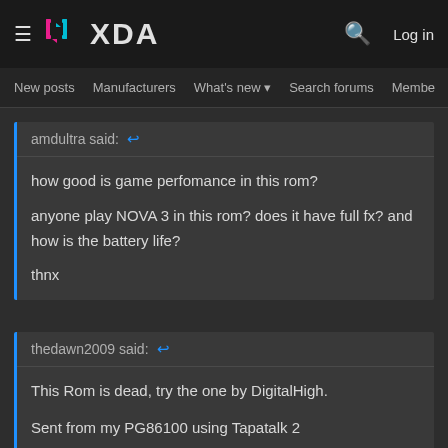XDA Forums – navigation header with logo, search, and Log in
New posts  Manufacturers  What's new  Search forums  Membe  >
amdultra said:
how good is game perfomance in this rom?

anyone play NOVA 3 in this rom? does it have full fx? and how is the battery life?

thnx
thedawn2009 said:
This Rom is dead, try the one by DigitalHigh.

Sent from my PG86100 using Tapatalk 2